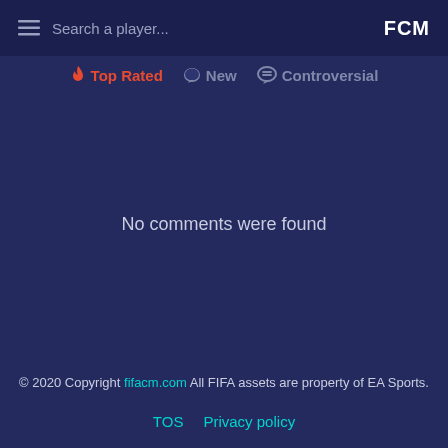Search a player... FCM
🔥 Top Rated  💬 New  💬 Controversial
No comments were found
© 2020 Copyright fifacm.com All FIFA assets are property of EA Sports. TOS Privacy policy